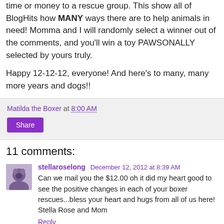time or money to a rescue group. This show all of BlogHits how MANY ways there are to help animals in need! Momma and I will randomly select a winner out of the comments, and you'll win a toy PAWSONALLY selected by yours truly.
Happy 12-12-12, everyone! And here's to many, many more years and dogs!!
Matilda the Boxer at 8:00 AM
Share
11 comments:
stellaroselong December 12, 2012 at 8:39 AM
Can we mail you the $12.00 oh it did my heart good to see the positive changes in each of your boxer rescues...bless your heart and hugs from all of us here!
Stella Rose and Mom
Reply